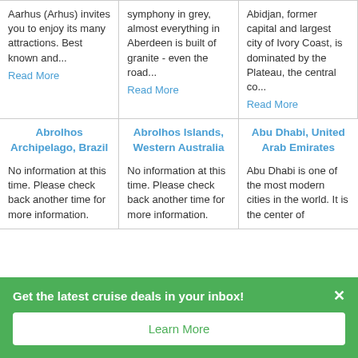Aarhus (Arhus) invites you to enjoy its many attractions. Best known and...
Read More
symphony in grey, almost everything in Aberdeen is built of granite - even the road...
Read More
Abidjan, former capital and largest city of Ivory Coast, is dominated by the Plateau, the central co...
Read More
Abrolhos Archipelago, Brazil
No information at this time. Please check back another time for more information.
Abrolhos Islands, Western Australia
No information at this time. Please check back another time for more information.
Abu Dhabi, United Arab Emirates
Abu Dhabi is one of the most modern cities in the world. It is the center of
Get the latest cruise deals in your inbox!
Learn More